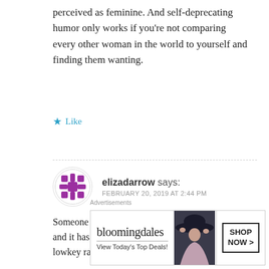perceived as feminine. And self-deprecating humor only works if you're not comparing every other woman in the world to yourself and finding them wanting.
Like
elizadarrow says: FEBRUARY 20, 2019 AT 2:44 PM
Someone on twitter recommended this review series and it has totally made my day. I have a constant lowkey rage whenever I think about this series, and
[Figure (other): Bloomingdale's advertisement banner: View Today's Top Deals! SHOP NOW >]
Advertisements